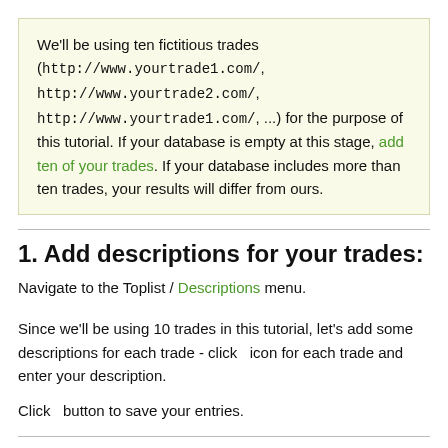We'll be using ten fictitious trades (http://www.yourtrade1.com/, http://www.yourtrade2.com/, http://www.yourtrade1.com/, ...) for the purpose of this tutorial. If your database is empty at this stage, add ten of your trades. If your database includes more than ten trades, your results will differ from ours.
1. Add descriptions for your trades:
Navigate to the Toplist / Descriptions menu.
Since we'll be using 10 trades in this tutorial, let's add some descriptions for each trade - click  icon for each trade and enter your description.
Click  button to save your entries.
2. Assign trades to niches: